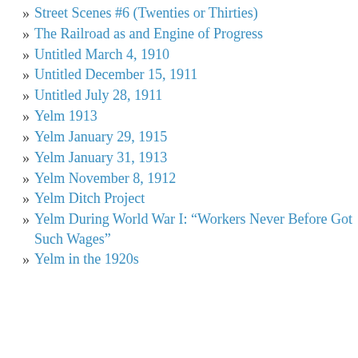Street Scenes #6 (Twenties or Thirties)
The Railroad as and Engine of Progress
Untitled March 4, 1910
Untitled December 15, 1911
Untitled July 28, 1911
Yelm 1913
Yelm January 29, 1915
Yelm January 31, 1913
Yelm November 8, 1912
Yelm Ditch Project
Yelm During World War I: “Workers Never Before Got Such Wages”
Yelm in the 1920s